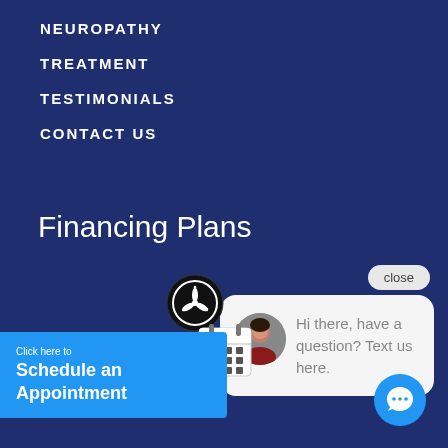NEUROPATHY
TREATMENT
TESTIMONIALS
CONTACT US
Financing Plans
[Figure (screenshot): Chat widget with close button, avatar of a woman, and message: Hi there, have a question? Text us here.]
close
Hi there, have a question? Text us here.
[Figure (infographic): Schedule an Appointment button with click here to text, clock icon and calendar icon]
Click here to Schedule an Appointment